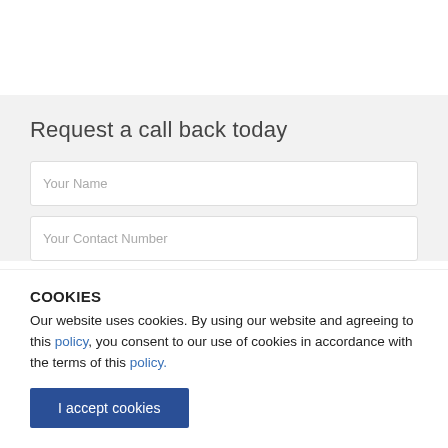Request a call back today
Your Name
Your Contact Number
COOKIES
Our website uses cookies. By using our website and agreeing to this policy, you consent to our use of cookies in accordance with the terms of this policy.
I accept cookies